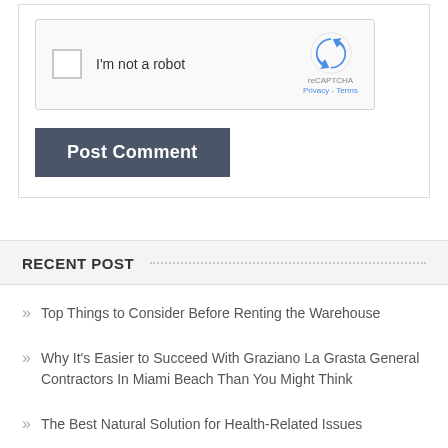[Figure (screenshot): reCAPTCHA widget with checkbox labeled 'I'm not a robot' and reCAPTCHA logo on the right]
[Figure (screenshot): Dark gray 'Post Comment' button]
RECENT POST
Top Things to Consider Before Renting the Warehouse
Why It's Easier to Succeed With Graziano La Grasta General Contractors In Miami Beach Than You Might Think
The Best Natural Solution for Health-Related Issues